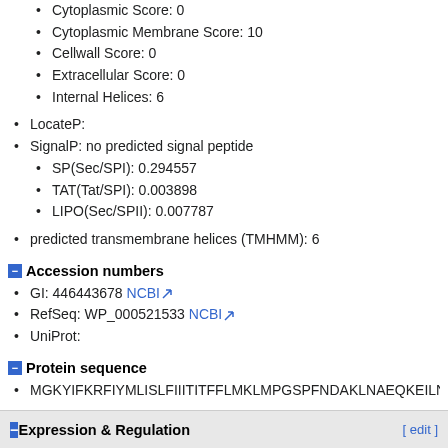Cytoplasmic Score: 0
Cytoplasmic Membrane Score: 10
Cellwall Score: 0
Extracellular Score: 0
Internal Helices: 6
LocateP:
SignalP: no predicted signal peptide
SP(Sec/SPI): 0.294557
TAT(Tat/SPI): 0.003898
LIPO(Sec/SPII): 0.007787
predicted transmembrane helices (TMHMM): 6
Accession numbers
GI: 446443678 NCBI
RefSeq: WP_000521533 NCBI
UniProt:
Protein sequence
MGKYIFKRFIYMLISLFIIITITFFLMKLMPGSPFNDAKLNAEQKEILNE
Experimental data
experimentally validated: no data available
Expression & Regulation